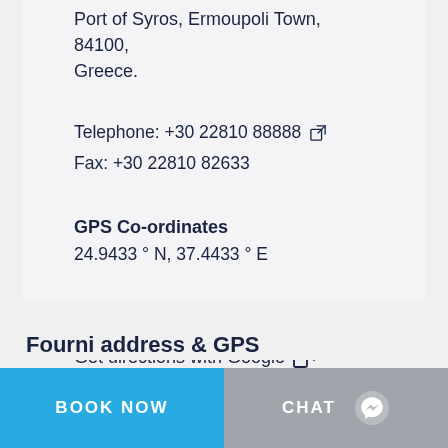Port of Syros, Ermoupoli Town, 84100, Greece.
Telephone: +30 22810 88888 [external link]
Fax: +30 22810 82633
GPS Co-ordinates
24.9433 ° N, 37.4433 ° E
Get directions with Google [external link]
Fourni address & GPS
BOOK NOW
CHAT